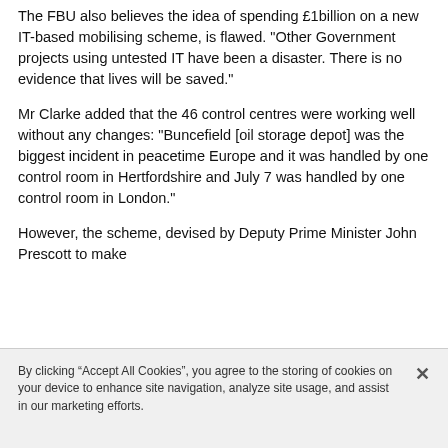The FBU also believes the idea of spending £1billion on a new IT-based mobilising scheme, is flawed. "Other Government projects using untested IT have been a disaster. There is no evidence that lives will be saved."
Mr Clarke added that the 46 control centres were working well without any changes: "Buncefield [oil storage depot] was the biggest incident in peacetime Europe and it was handled by one control room in Hertfordshire and July 7 was handled by one control room in London."
However, the scheme, devised by Deputy Prime Minister John Prescott to make
By clicking “Accept All Cookies”, you agree to the storing of cookies on your device to enhance site navigation, analyze site usage, and assist in our marketing efforts.